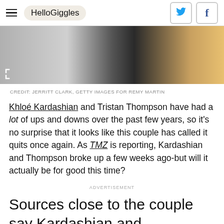HelloGiggles
[Figure (photo): Cropped photo of two people, one in black and white and one blonde woman in black outfit with bokeh background]
CREDIT: JERRITT CLARK, GETTY IMAGES FOR REMY MARTIN
Khloé Kardashian and Tristan Thompson have had a lot of ups and downs over the past few years, so it's no surprise that it looks like this couple has called it quits once again. As TMZ is reporting, Kardashian and Thompson broke up a few weeks ago-but will it actually be for good this time?
ADVERTISEMENT
Sources close to the couple say Kardashian and